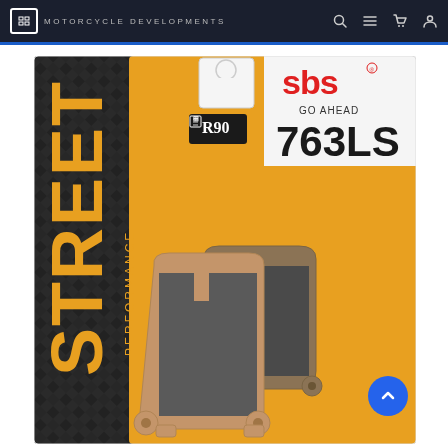MOTORCYCLE DEVELOPMENTS
[Figure (photo): SBS 763LS Street Performance brake pads product packaging. Yellow packaging with carbon fiber texture background on the left side. Shows 'STREET PERFORMANCE' text vertically on left side, 'R90' certification badge, SBS logo in red, '763LS' product number, and physical brake pads displayed in front of the packaging.]